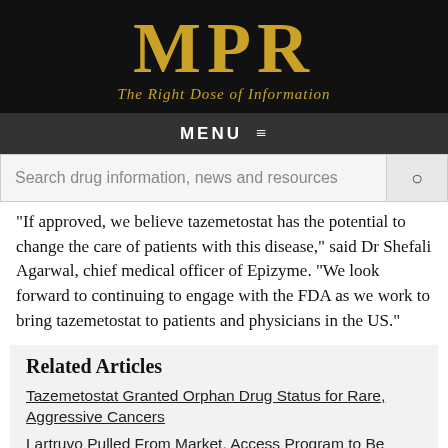MPR — The Right Dose of Information
"If approved, we believe tazemetostat has the potential to change the care of patients with this disease," said Dr Shefali Agarwal, chief medical officer of Epizyme. "We look forward to continuing to engage with the FDA as we work to bring tazemetostat to patients and physicians in the US."
Related Articles
Tazemetostat Granted Orphan Drug Status for Rare, Aggressive Cancers
Lartruvo Pulled From Market, Access Program to Be